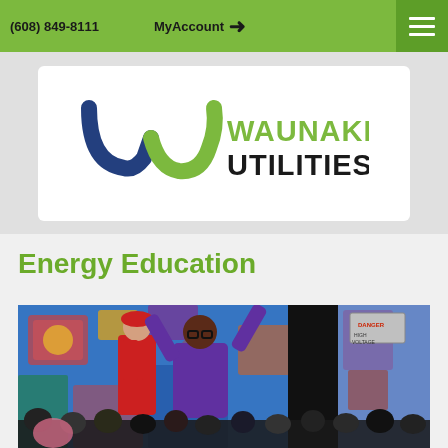(608) 849-8111   MyAccount →
[Figure (logo): Waunakee Utilities logo with stylized W mark in blue and olive green, and text WAUNAKEE UTILITIES in bold black]
Energy Education
[Figure (photo): Two performers on stage with colorful illustrated backdrop showing industrial/energy themes. A person in red outfit and one in purple outfit with arms raised performing for a seated student audience.]